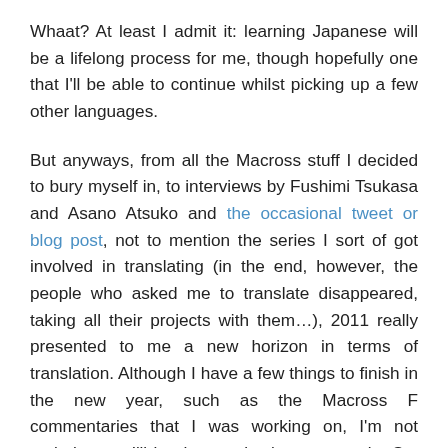Whaat? At least I admit it: learning Japanese will be a lifelong process for me, though hopefully one that I'll be able to continue whilst picking up a few other languages.
But anyways, from all the Macross stuff I decided to bury myself in, to interviews by Fushimi Tsukasa and Asano Atsuko and the occasional tweet or blog post, not to mention the series I sort of got involved in translating (in the end, however, the people who asked me to translate disappeared, taking all their projects with them…), 2011 really presented to me a new horizon in terms of translation. Although I have a few things to finish in the new year, such as the Macross F commentaries that I was working on, I'm not entirely sure I'll be that productive ever again. So, before I go, let me present the final project I worked on this year: A Day in Alcatraz.